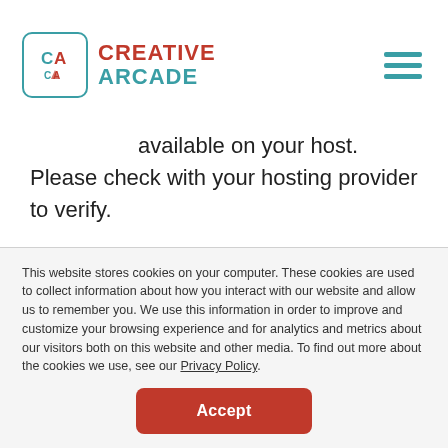CREATIVE ARCADE
available on your host. Please check with your hosting provider to verify.
As always with WordPress, please verify that the plugins and themes used on your site are compatible with the new version before updating. We also
This website stores cookies on your computer. These cookies are used to collect information about how you interact with our website and allow us to remember you. We use this information in order to improve and customize your browsing experience and for analytics and metrics about our visitors both on this website and other media. To find out more about the cookies we use, see our Privacy Policy.
Accept